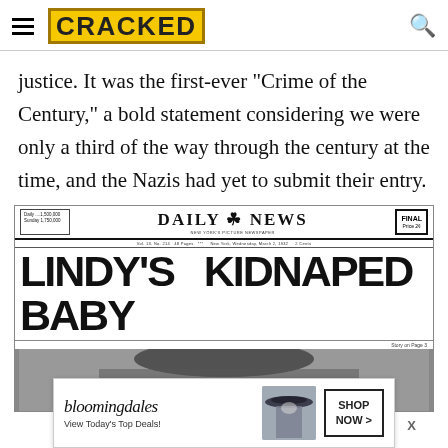CRACKED
justice. It was the first-ever "Crime of the Century," a bold statement considering we were only a third of the way through the century at the time, and the Nazis had yet to submit their entry.
[Figure (photo): Photograph of a Daily News newspaper front page with headline 'LINDY'S BABY KIDNAPED', labeled FINAL edition, New York's Picture Newspaper, dated Wednesday March 2, 1932. Below the headline is a dark photograph.]
[Figure (photo): Bloomingdale's advertisement banner showing a woman in a wide-brimmed hat. Text reads: bloomingdales, View Today's Top Deals!, SHOP NOW >]